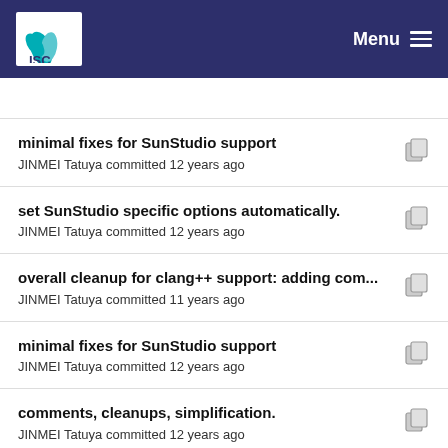ISC Menu
minimal fixes for SunStudio support
JINMEI Tatuya committed 12 years ago
set SunStudio specific options automatically.
JINMEI Tatuya committed 12 years ago
overall cleanup for clang++ support: adding com...
JINMEI Tatuya committed 11 years ago
minimal fixes for SunStudio support
JINMEI Tatuya committed 12 years ago
comments, cleanups, simplification.
JINMEI Tatuya committed 12 years ago
[1558] comment
Jelte Jansen committed 10 years ago
comments, cleanups, simplification.